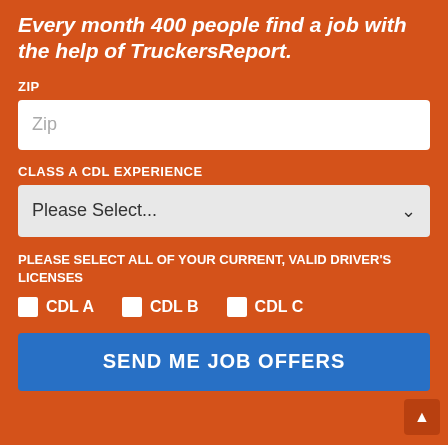Every month 400 people find a job with the help of TruckersReport.
ZIP
Zip
CLASS A CDL EXPERIENCE
Please Select...
PLEASE SELECT ALL OF YOUR CURRENT, VALID DRIVER'S LICENSES
CDL A
CDL B
CDL C
SEND ME JOB OFFERS
(You must log in or sign up to reply here.)
< Prev  1  2  3  Next >
Thread Status: Not open for further replies.